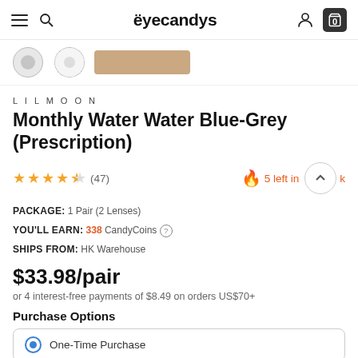eyecandys
[Figure (screenshot): Product thumbnail strip showing three lens color variants, with the third (tan/beige) selected]
LILMOON
Monthly Water Water Blue-Grey (Prescription)
★★★★½ (47) 🔥 5 left in stock
PACKAGE: 1 Pair (2 Lenses)
YOU'LL EARN: 338 CandyCoins ℹ
SHIPS FROM: HK Warehouse
$33.98/pair
or 4 interest-free payments of $8.49 on orders US$70+
Purchase Options
One-Time Purchase